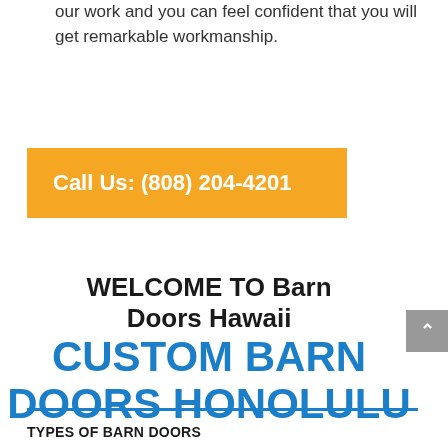our work and you can feel confident that you will get remarkable workmanship.
Call Us: (808) 204-4201
WELCOME TO Barn Doors Hawaii CUSTOM BARN DOORS HONOLULU
TYPES OF BARN DOORS